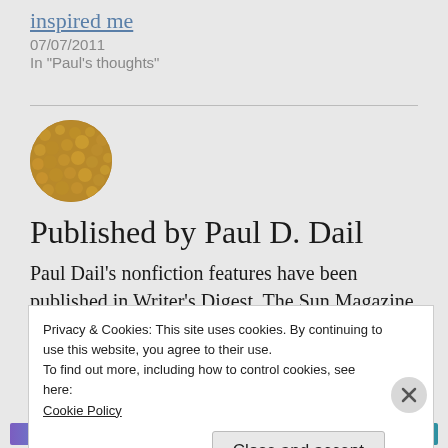inspired me
07/07/2011
In "Paul's thoughts"
[Figure (photo): Circular avatar photo showing a textured brownish-golden surface, used as a profile image for Paul D. Dail.]
Published by Paul D. Dail
Paul Dail's nonfiction features have been published in Writer's Digest, The Sun Magazine
Privacy & Cookies: This site uses cookies. By continuing to use this website, you agree to their use.
To find out more, including how to control cookies, see here:
Cookie Policy
Close and accept